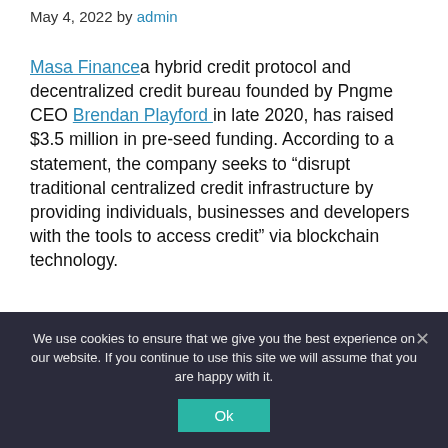May 4, 2022 by admin
Masa Finance a hybrid credit protocol and decentralized credit bureau founded by Pngme CEO Brendan Playford in late 2020, has raised $3.5 million in pre-seed funding. According to a statement, the company seeks to “disrupt traditional centralized credit infrastructure by providing individuals, businesses and developers with the tools to access credit” via blockchain technology.
The core principle for blockchain centers on…
We use cookies to ensure that we give you the best experience on our website. If you continue to use this site we will assume that you are happy with it.